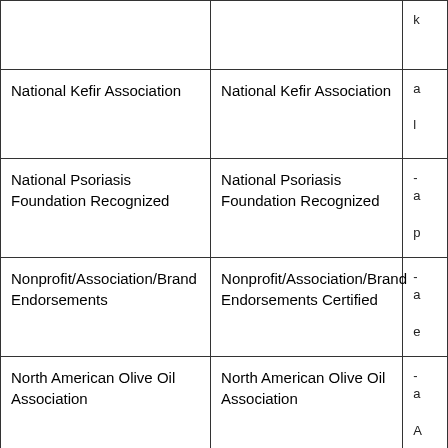| [col1] | [col2] | [col3 - partial] |
| --- | --- | --- |
|  |  | k... |
| National Kefir Association | National Kefir Association | a... |
| National Psoriasis Foundation Recognized | National Psoriasis Foundation Recognized | a... p... |
| Nonprofit/Association/Brand Endorsements | Nonprofit/Association/Brand Endorsements Certified | a... e... |
| North American Olive Oil Association | North American Olive Oil Association | a... A... |
| NSF - Certified for Sport | NSF - Certified for Sport | p... l... |
| Nutrifusion | Nutrifusion | t... |